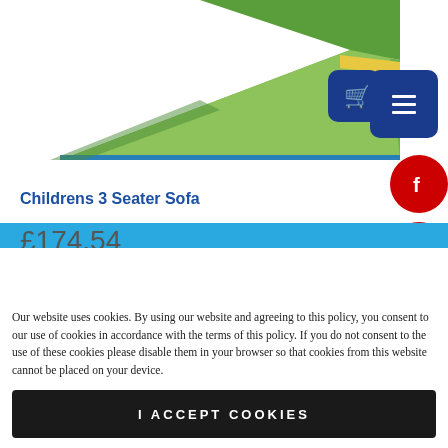[Figure (photo): Partial view of a colourful children's soft-play sofa in green, yellow and blue, cropped at the top of the page]
Childrens 3 Seater Sofa
£174.54
Our website uses cookies. By using our website and agreeing to this policy, you consent to our use of cookies in accordance with the terms of this policy. If you do not consent to the use of these cookies please disable them in your browser so that cookies from this website cannot be placed on your device.
I ACCEPT COOKIES